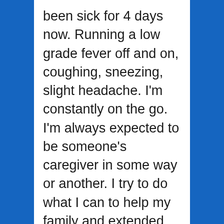been sick for 4 days now. Running a low grade fever off and on, coughing, sneezing, slight headache. I'm constantly on the go. I'm always expected to be someone's caregiver in some way or another. I try to do what I can to help my family and extended family. I try to be there for the people I care about, friends included. BUT it's time for me to slow down and take some time to take care of me. Along with the severe arthritis